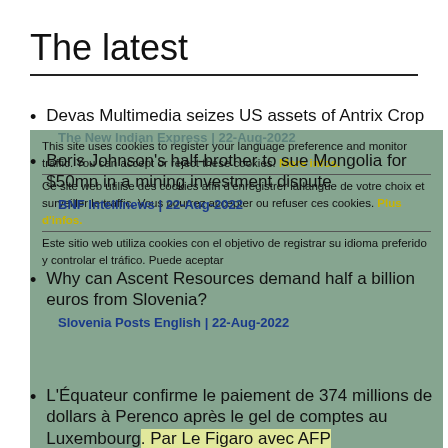The latest
Devas Multimedia seizes US assets of Antrix Crop
The New Indian Express | 22-Aug-2022
Boris Johnson's half-brother to sue Mongolia for $50mn in a mining investment dispute
BNF Intellinews | 22-Aug-2022
Why can Ascent Resources demand half a billion euros from Slovenia?
Slovenia Posts English | 22-Aug-2022
L'Équateur confirme le paiement de 374 millions de dollars à Perenco après le gel de comptes au Luxembourg
Le Figaro | 22-Aug-2022
EU y Canadá requerimiento de la consulta del